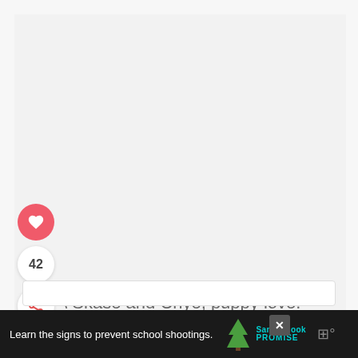[Figure (photo): Large light gray image area, likely showing a photo of dogs (Skase and Chye)]
[Figure (illustration): Heart icon button in red/pink circle for liking]
42
[Figure (illustration): Share icon button in white circle]
\ Skase and Chye, puppy love.
WHAT'S NEXT → 41 Cutest Unicorn Cat...
[Figure (illustration): Small thumbnail of unicorn cat illustration]
[Figure (screenshot): Ad banner: Learn the signs to prevent school shootings. Sandy Hook Promise logo. Close button X.]